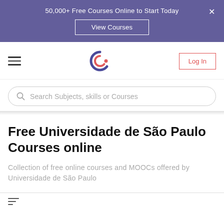50,000+ Free Courses Online to Start Today
View Courses
[Figure (logo): Class Central logo - stylized C with dot]
Log In
Search Subjects, skills or Courses
Free Universidade de São Paulo Courses online
Collection of free online courses and MOOCs offered by Universidade de São Paulo